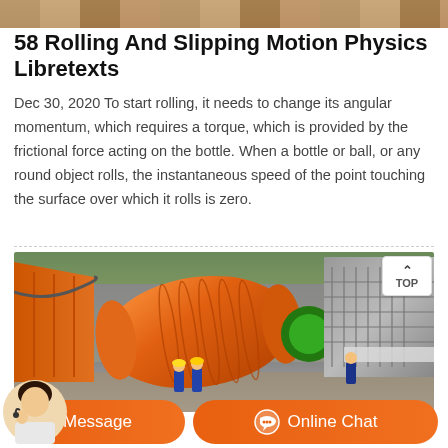[Figure (photo): Top banner image strip showing industrial/machinery content]
58 Rolling And Slipping Motion Physics Libretexts
Dec 30, 2020 To start rolling, it needs to change its angular momentum, which requires a torque, which is provided by the frictional force acting on the bottle. When a bottle or ball, or any round object rolls, the instantaneous speed of the point touching the surface over which it rolls is zero.
[Figure (photo): Industrial photo showing large orange cylindrical ball mill machine with workers in blue uniforms nearby, and grey screening/sorting equipment in the background. A TOP navigation button is visible in the upper right of the image.]
Message
Online Chat